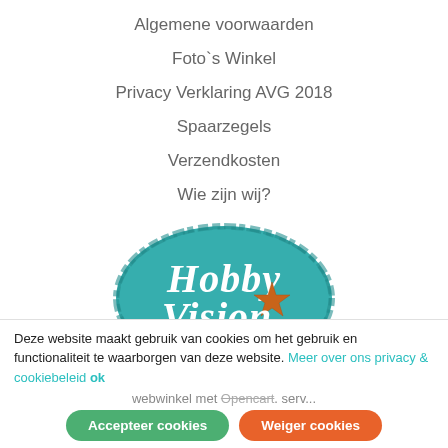Algemene voorwaarden
Foto`s Winkel
Privacy Verklaring AVG 2018
Spaarzegels
Verzendkosten
Wie zijn wij?
[Figure (logo): HobbyVision logo — teal oval brushstroke shape with white cursive text 'Hobby Vision' and an orange star]
Deze website maakt gebruik van cookies om het gebruik en functionaliteit te waarborgen van deze website. Meer over ons privacy & cookiebeleid ok webwinkel met Opencart. Servic...